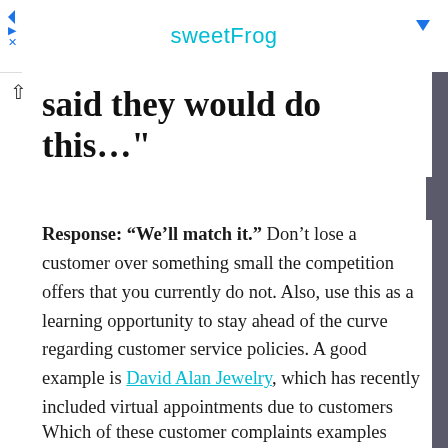sweetFrog
said they would do this…”
Response: “We’ll match it.” Don’t lose a customer over something small the competition offers that you currently do not. Also, use this as a learning opportunity to stay ahead of the curve regarding customer service policies. A good example is David Alan Jewelry, which has recently included virtual appointments due to customers complaining that their competitors were offering this.
Which of these customer complaints examples